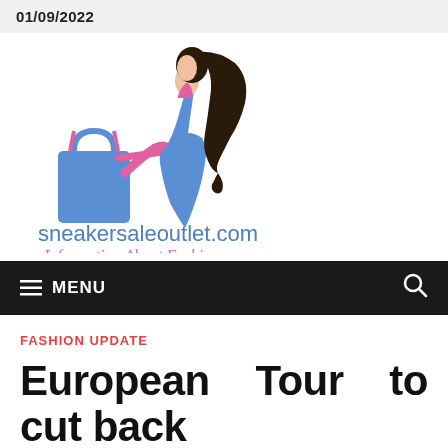01/09/2022
[Figure (logo): Fashion website logo: silhouette of a woman in a blue dress holding a blue shopping bag, with long dark hair flowing behind her. Pink outline accents. Logo for sneakersaleoutlet.com.]
sneakersaleoutlet.com
Information About Fashion
MENU
FASHION UPDATE
European Tour to cut back